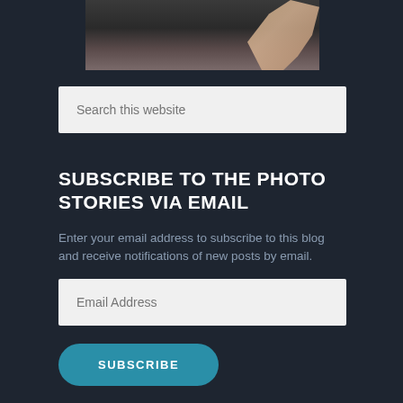[Figure (photo): Partial photograph showing a person's hand/arm against a dark rocky background, cropped at top of page]
Search this website
SUBSCRIBE TO THE PHOTO STORIES VIA EMAIL
Enter your email address to subscribe to this blog and receive notifications of new posts by email.
Email Address
SUBSCRIBE